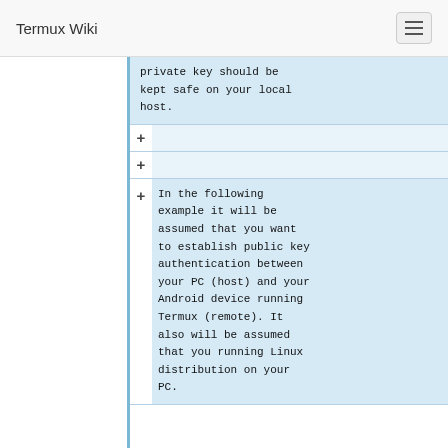Termux Wiki
private key should be kept safe on your local host.
In the following example it will be assumed that you want to establish public key authentication between your PC (host) and your Android device running Termux (remote). It also will be assumed that you running Linux distribution on your PC.